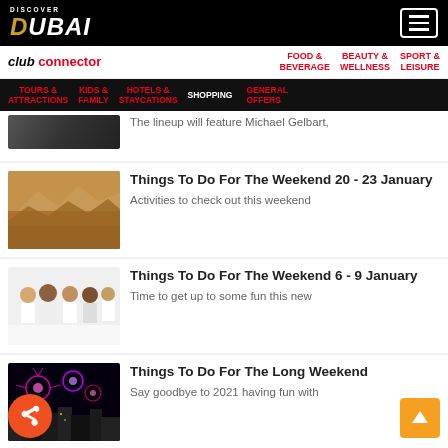DISCOVER DUBAI
club connector | FOOD & BEVERAGE | BEAUTY & WELLNESS | SPORT & LEISURE
TOURS & ATTRACTIONS | KIDS & FAMILY | HOTELS & STAYCATIONS | SHOPPING | GENERAL OFFERS
The lineup will feature Michael Gelbart,
Things To Do For The Weekend 20 - 23 January
Activities to check out this weekend
Things To Do For The Weekend 6 - 9 January
Time to get up to some fun this new
Things To Do For The Long Weekend
Say goodbye to 2021 having fun with
End This Year With A Big Celebration!
Create some great memories for New